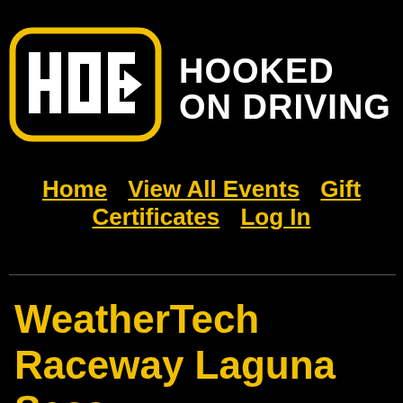[Figure (logo): Hooked On Driving logo: HOD letters in white inside a rounded rectangle with yellow border, followed by bold white text HOOKED ON DRIVING]
Home   View All Events   Gift Certificates   Log In
WeatherTech Raceway Laguna Seca